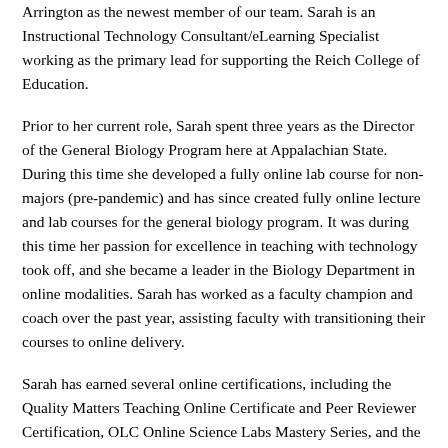Arrington as the newest member of our team. Sarah is an Instructional Technology Consultant/eLearning Specialist working as the primary lead for supporting the Reich College of Education.
Prior to her current role, Sarah spent three years as the Director of the General Biology Program here at Appalachian State. During this time she developed a fully online lab course for non-majors (pre-pandemic) and has since created fully online lecture and lab courses for the general biology program. It was during this time her passion for excellence in teaching with technology took off, and she became a leader in the Biology Department in online modalities. Sarah has worked as a faculty champion and coach over the past year, assisting faculty with transitioning their courses to online delivery.
Sarah has earned several online certifications, including the Quality Matters Teaching Online Certificate and Peer Reviewer Certification, OLC Online Science Labs Mastery Series, and the Moodle Educator Certification. Recently